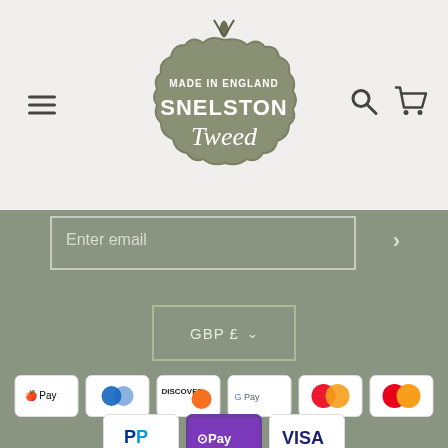[Figure (logo): Snelston Tweed made in England badge logo — ornate scalloped shape in sage green with white text]
Enter email
GBP £
[Figure (other): Payment method icons: Apple Pay, Diners Club, Discover, Google Pay, Mastercard (contact), Mastercard, PayPal, OPay, Visa]